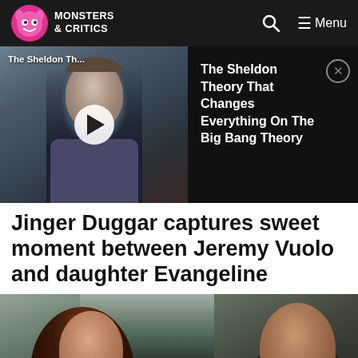Monsters & Critics — Navigation bar with search and menu
[Figure (screenshot): Video thumbnail showing a man (Sheldon actor) with a white play button overlay, alongside text 'The Sheldon Theory That Changes Everything On The Big Bang Theory' and a close (X) button]
Jinger Duggar captures sweet moment between Jeremy Vuolo and daughter Evangeline
[Figure (photo): Photo of a woman (Jinger Duggar) and a man (Jeremy Vuolo) sitting together, the woman looking up at the man and smiling]